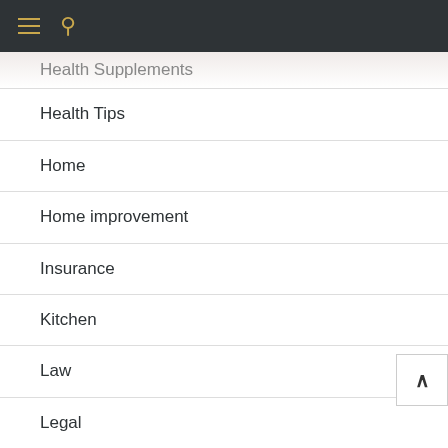☰ 🔍
Health Supplements
Health Tips
Home
Home improvement
Insurance
Kitchen
Law
Legal
Lifestlye
Medicine
News